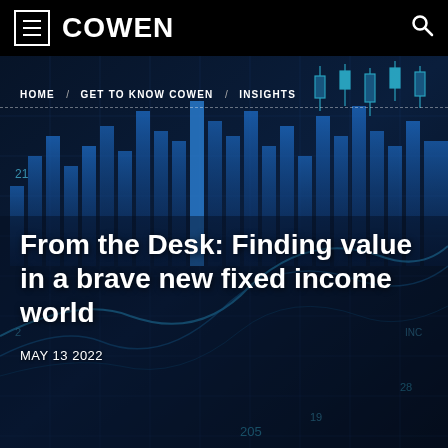COWEN
HOME / GET TO KNOW COWEN / INSIGHTS
[Figure (photo): Dark blue financial market background showing stock chart data, candlestick charts, and grid lines with glowing blue tones overlaid on a world map silhouette]
From the Desk: Finding value in a brave new fixed income world
MAY 13 2022